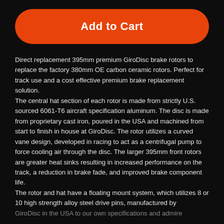[Figure (other): Orange 'Add to Cart' button with rounded corners on dark background]
Direct replacement 395mm premium GiroDisc brake rotors to replace the factory 380mm OE carbon ceramic rotors. Perfect for track use and a cost effective premium brake replacement solution.
The central hat section of each rotor is made from strictly U.S. sourced 6061-T6 aircraft specification aluminum. The disc is made from proprietary cast iron, poured in the USA and machined from start to finish in house at GiroDisc.  The rotor utilizes a curved vane design, developed in racing to act as a centrifugal pump to force cooling air through the disc. The larger 395mm front rotors are greater heat sinks resulting in increased performance on the track, a reduction in brake fade, and improved brake component life.
The rotor and hat have a floating mount system, which utilizes 8 or 10 high strength alloy steel drive pins, manufactured by GiroDisc in the USA to our own specifications and admire